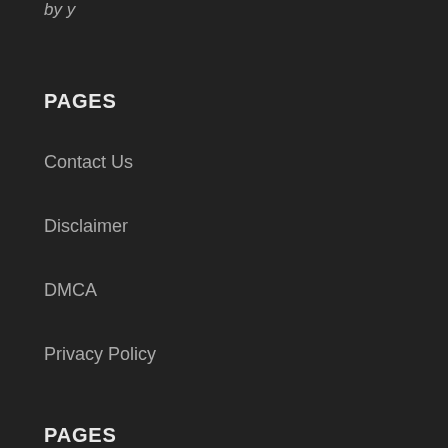by y
PAGES
Contact Us
Disclaimer
DMCA
Privacy Policy
PAGES
Contact Us
Disclaimer
DMCA